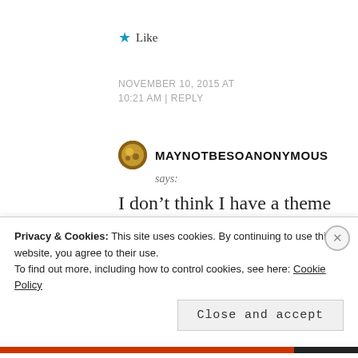★ Like
NOVEMBER 10, 2015 AT 10:21 AM | REPLY
MAYNOTBESOANONYMOUS says:
I don't think I have a theme or anything at all. I just write where I can get my hands on
Privacy & Cookies: This site uses cookies. By continuing to use this website, you agree to their use.
To find out more, including how to control cookies, see here: Cookie Policy
Close and accept